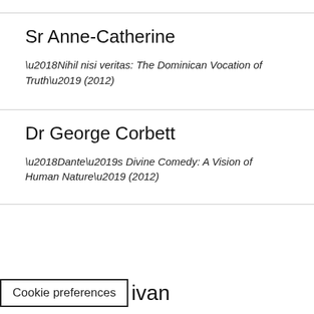Sr Anne-Catherine
‘Nihil nisi veritas: The Dominican Vocation of Truth’ (2012)
Dr George Corbett
‘Dante’s Divine Comedy: A Vision of Human Nature’ (2012)
Cookie preferences
ivan